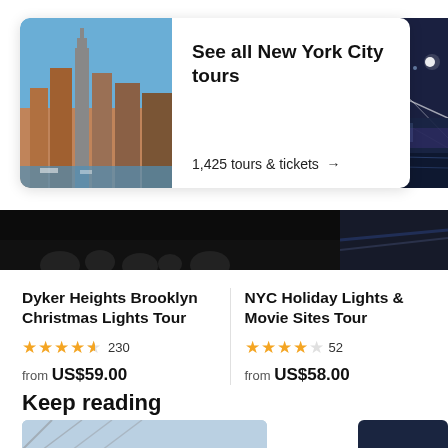[Figure (screenshot): NYC skyline card with 'See all New York City tours' title and '1,425 tours & tickets →' link, alongside a nighttime NYC bridge photo on the right]
See all New York City tours
1,425 tours & tickets →
[Figure (photo): Dark strip photos: dark crowd scene on left, nighttime bridge scene on right]
Dyker Heights Brooklyn Christmas Lights Tour
★★★★½ 230
from US$59.00
NYC Holiday Lights & Movie Sites Tour
★★★★☆ 52
from US$58.00
Keep reading
[Figure (photo): Two partial bottom images: steel structure on the left, dark blue image on the right]